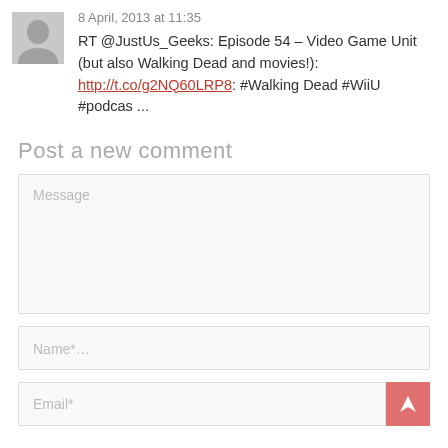8 April, 2013 at 11:35
RT @JustUs_Geeks: Episode 54 – Video Game Unit (but also Walking Dead and movies!): http://t.co/g2NQ60LRP8: #Walking Dead #WiiU #podcas ...
Post a new comment
Message
Name*...
Email*